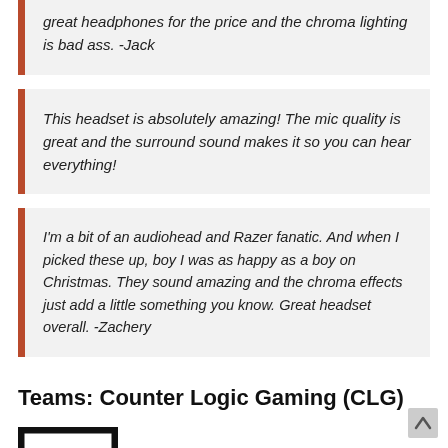great headphones for the price and the chroma lighting is bad ass. -Jack
This headset is absolutely amazing! The mic quality is great and the surround sound makes it so you can hear everything!
I'm a bit of an audiohead and Razer fanatic. And when I picked these up, boy I was as happy as a boy on Christmas. They sound amazing and the chroma effects just add a little something you know. Great headset overall. -Zachery
Teams: Counter Logic Gaming (CLG)
[Figure (logo): Counter Logic Gaming logo - black rectangular frame with white interior]
Headset of Choice For: